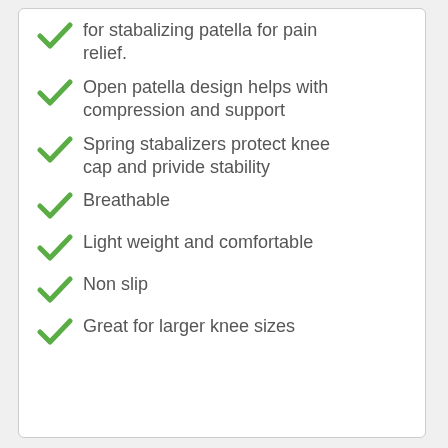for stabalizing patella for pain relief.
Open patella design helps with compression and support
Spring stabalizers protect knee cap and privide stability
Breathable
Light weight and comfortable
Non slip
Great for larger knee sizes